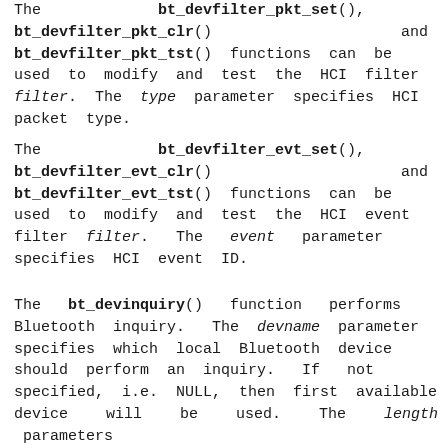The bt_devfilter_pkt_set(), bt_devfilter_pkt_clr() and bt_devfilter_pkt_tst() functions can be used to modify and test the HCI filter filter. The type parameter specifies HCI packet type.
The bt_devfilter_evt_set(), bt_devfilter_evt_clr() and bt_devfilter_evt_tst() functions can be used to modify and test the HCI event filter filter. The event parameter specifies HCI event ID.
The bt_devinquiry() function performs Bluetooth inquiry. The devname parameter specifies which local Bluetooth device should perform an inquiry. If not specified, i.e. NULL, then first available device will be used. The length parameters specifies the total length of an inquiry